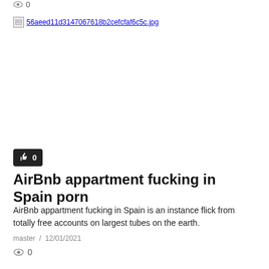[Figure (other): Broken image placeholder showing filename: 56aeed11d3147067618b2cefcfaf6c5c.jpg]
0
AirBnb appartment fucking in Spain porn
AirBnb appartment fucking in Spain is an instance flick from totally free accounts on largest tubes on the earth.
master  /  12/01/2021
0